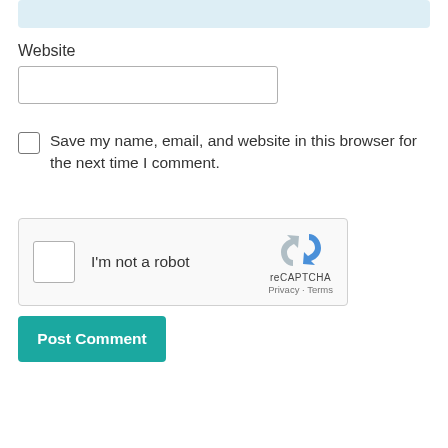[Figure (screenshot): Top portion of a light blue input/textarea field (cropped at top)]
Website
[Figure (screenshot): Empty text input box for Website URL]
[Figure (screenshot): Unchecked checkbox]
Save my name, email, and website in this browser for the next time I comment.
[Figure (screenshot): reCAPTCHA widget with 'I'm not a robot' checkbox and Google reCAPTCHA logo with Privacy and Terms links]
[Figure (screenshot): Post Comment button in teal/dark cyan color]